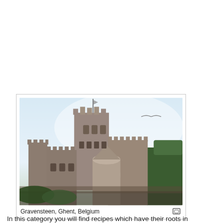[Figure (photo): Photograph of Gravensteen castle in Ghent, Belgium. A large medieval stone castle with towers, battlements, and crenellations under a light sky. Trees are visible on the right side.]
Gravensteen, Ghent, Belgium
In this category you will find recipes which have their roots in